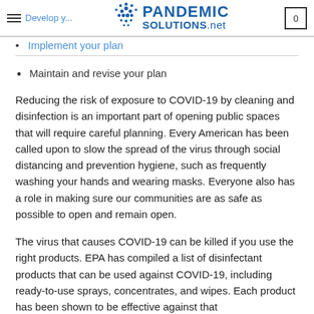PANDEMIC SOLUTIONS.net
Implement your plan
Maintain and revise your plan
Reducing the risk of exposure to COVID-19 by cleaning and disinfection is an important part of opening public spaces that will require careful planning. Every American has been called upon to slow the spread of the virus through social distancing and prevention hygiene, such as frequently washing your hands and wearing masks. Everyone also has a role in making sure our communities are as safe as possible to open and remain open.
The virus that causes COVID-19 can be killed if you use the right products. EPA has compiled a list of disinfectant products that can be used against COVID-19, including ready-to-use sprays, concentrates, and wipes. Each product has been shown to be effective against that